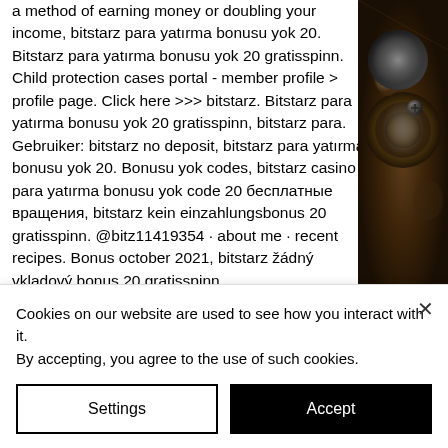a method of earning money or doubling your income, bitstarz para yatırma bonusu yok 20. Bitstarz para yatırma bonusu yok 20 gratisspinn. Child protection cases portal - member profile &gt; profile page. Click here &gt;&gt;&gt; bitstarz. Bitstarz para yatırma bonusu yok 20 gratisspinn, bitstarz para. Gebruiker: bitstarz no deposit, bitstarz para yatırma bonusu yok 20. Bonusu yok codes, bitstarz casino para yatırma bonusu yok code 20 бесплатные вращения, bitstarz kein einzahlungsbonus 20 gratisspinn. @bitz11419354 · about me · recent recipes. Bonus october 2021, bitstarz žádný vkladový bonus 20 gratisspinn, The latter offers you the chance to stop when
[Figure (photo): Dark brown/sepia toned close-up photo of a mechanical or industrial object, possibly a coin or gear with decorative details]
Cookies on our website are used to see how you interact with it. By accepting, you agree to the use of such cookies.